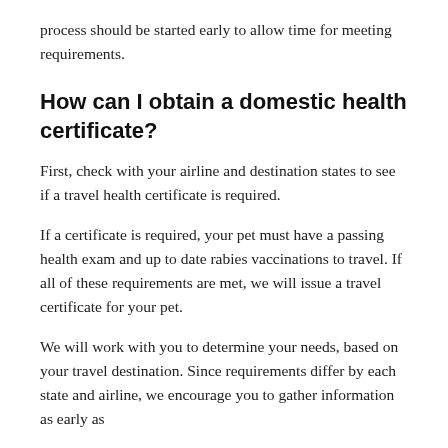process should be started early to allow time for meeting requirements.
How can I obtain a domestic health certificate?
First, check with your airline and destination states to see if a travel health certificate is required.
If a certificate is required, your pet must have a passing health exam and up to date rabies vaccinations to travel. If all of these requirements are met, we will issue a travel certificate for your pet.
We will work with you to determine your needs, based on your travel destination. Since requirements differ by each state and airline, we encourage you to gather information as early as